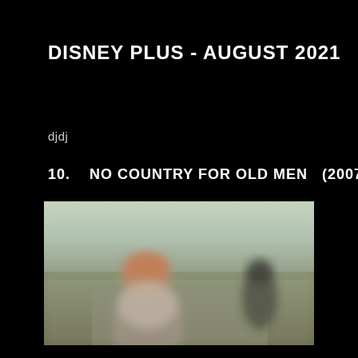DISNEY PLUS - AUGUST 2021
djdj
10.   NO COUNTRY FOR OLD MEN   (2007)
[Figure (photo): Blurred still from the film No Country for Old Men (2007) showing two figures outdoors, one in foreground with reddish/orange hair, another darker figure in the background, with a pale sky.]